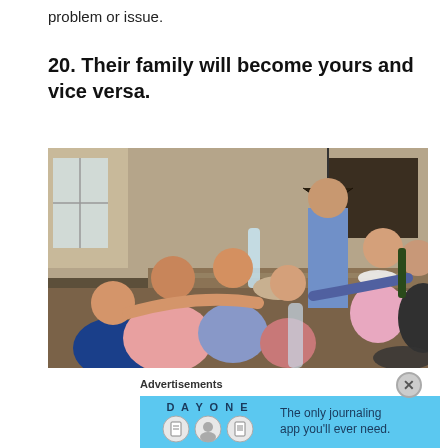problem or issue.
20. Their family will become yours and vice versa.
[Figure (photo): A large family gathered around a long dining table sharing a meal together, with multiple adults and children reaching across the table to pass food and drinks.]
Advertisements
[Figure (screenshot): DAY ONE app advertisement banner with blue background, showing app icons and text 'The only journaling app you'll ever need.']